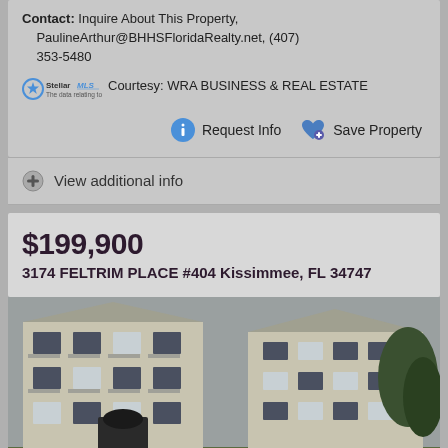Contact: Inquire About This Property, PaulineArthur@BHHSFloridaRealty.net, (407) 353-5480
StellarMLS Courtesy: WRA BUSINESS & REAL ESTATE
Request Info   Save Property
View additional info
$199,900
3174 FELTRIM PLACE #404 Kissimmee, FL 34747
[Figure (photo): Exterior photo of a multi-story apartment/condo building with beige/gray siding, dark shutters, balconies, and a parking area in the foreground with trees on the right.]